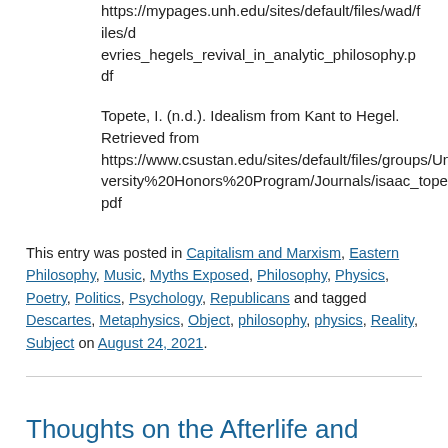https://mypages.unh.edu/sites/default/files/wad/files/devries_hegels_revival_in_analytic_philosophy.pdf
Topete, I. (n.d.). Idealism from Kant to Hegel. Retrieved from https://www.csustan.edu/sites/default/files/groups/University%20Honors%20Program/Journals/isaac_topete.pdf
This entry was posted in Capitalism and Marxism, Eastern Philosophy, Music, Myths Exposed, Philosophy, Physics, Poetry, Politics, Psychology, Republicans and tagged Descartes, Metaphysics, Object, philosophy, physics, Reality, Subject on August 24, 2021.
Thoughts on the Afterlife and Other